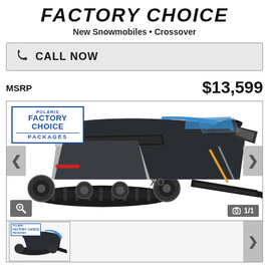FACTORY CHOICE
New Snowmobiles • Crossover
CALL NOW
MSRP $13,599
[Figure (photo): Polaris Factory Choice Packages snowmobile (crossover) in black and blue colorway, side view, with Polaris Factory Choice Packages logo overlay in top left. Navigation arrows on sides, zoom icon and 1/1 counter at bottom.]
[Figure (photo): Thumbnail of the same Polaris snowmobile shown in the main image above.]